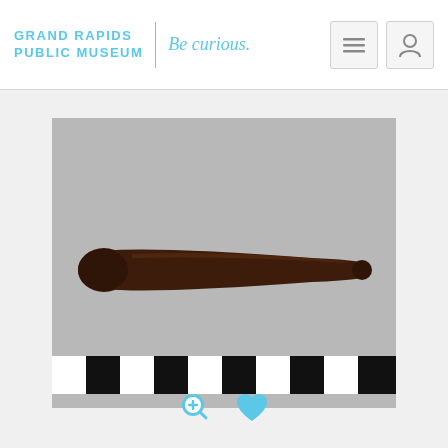GRAND RAPIDS PUBLIC MUSEUM | Be curious.
[Figure (photo): A dark brown wooden club or truncheon photographed horizontally against a gray background with a black and white measurement scale bar at the bottom.]